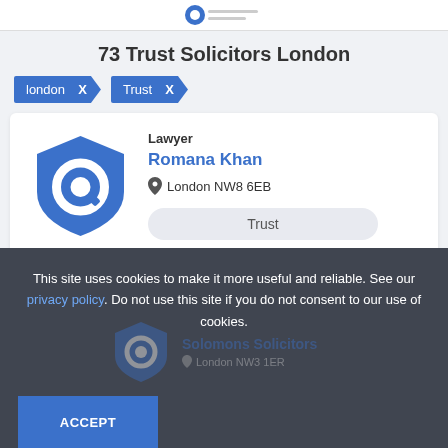73 Trust Solicitors London
london X
Trust X
Lawyer
Romana Khan
London NW8 6EB
Trust
This site uses cookies to make it more useful and reliable. See our privacy policy. Do not use this site if you do not consent to our use of cookies.
ACCEPT
Solomons Solicitors
London NW3 1ER